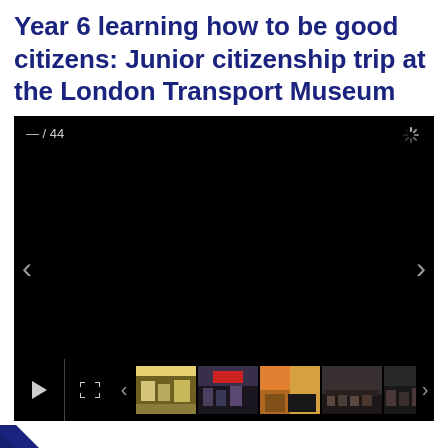Year 6 learning how to be good citizens: Junior citizenship trip at the London Transport Museum
[Figure (screenshot): A slideshow/media player widget showing a black main display area with slide counter '— / 44', a loading spinner icon in the top right, left and right navigation arrows on the sides, and a bottom control bar with play button, expand button, previous arrow, five photo thumbnails of students at the London Transport Museum, and a next arrow.]
to Kensington Palace